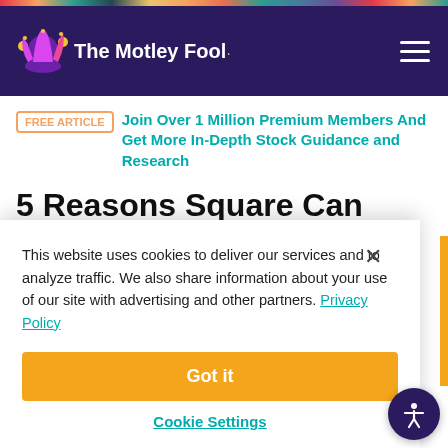The Motley Fool
FREE ARTICLE  Join Over 1 Million Premium Members And Get More In-Depth Stock Guidance and Research
5 Reasons Square Can Weather the Coronavirus Crisis
This website uses cookies to deliver our services and to analyze traffic. We also share information about your use of our site with advertising and other partners. Privacy Policy
Got it
Cookie Settings